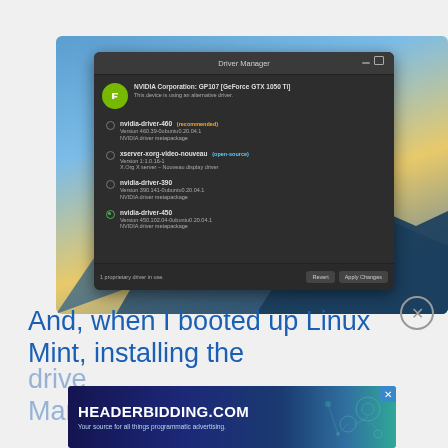[Figure (screenshot): Screenshot of Linux Driver Manager application showing NVIDIA Corporation GP107 [GeForce GTX 1050 Ti] with driver options: nvidia-driver-460 (recommended), xserver-xorg-video-nouveau (open-source), nvidia-driver-390, nvidia-driver-450 (selected). Bottom shows '1 proprietary driver in use.' with Revert and Apply Changes buttons.]
And, when I booted up Linux Mint, installing the driver was a simple affair via the Driver Manager.
[Figure (screenshot): Advertisement banner for HEADERBIDDING.COM - 'Your source for all things programmatic advertising.']